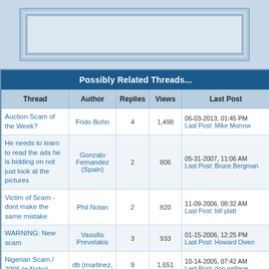[Figure (screenshot): Top portion showing nested border boxes in light blue/gray tones, partial view of a web forum screenshot]
| Thread | Author | Replies | Views | Last Post |
| --- | --- | --- | --- | --- |
| Auction Scam of the Week? | Frido Bohn | 4 | 1,498 | 06-03-2013, 01:45 PM
Last Post: Mike Morrow |
| He needs to learn to read the ads he is bidding on not just look at the pictures | Gonzalo Fernandez (Spain) | 2 | 806 | 05-31-2007, 11:06 AM
Last Post: Bruce Bergman |
| Victim of Scam - dont make the same mistake | Phil Nolan | 2 | 820 | 11-09-2006, 08:32 AM
Last Post: bill platt |
| WARNING: New scam | Vassilis Prevelakis | 3 | 933 | 01-15-2006, 12:25 PM
Last Post: Howard Owen |
| Nigerian Scam / 2005 Ig Nobel | db (martinez, | 9 | 1,651 | 10-14-2005, 07:42 AM
Last Post: don wallace |